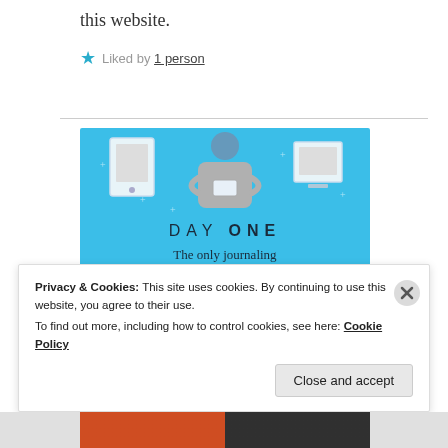this website.
★ Liked by 1 person
[Figure (illustration): Day One journaling app advertisement banner on a blue background showing a person holding a phone/device, two tablet/phone devices on either side, with text 'DAY ONE - The only journaling app you'll ever need.' and a dark blue 'Get the app' button.]
Privacy & Cookies: This site uses cookies. By continuing to use this website, you agree to their use.
To find out more, including how to control cookies, see here: Cookie Policy
Close and accept